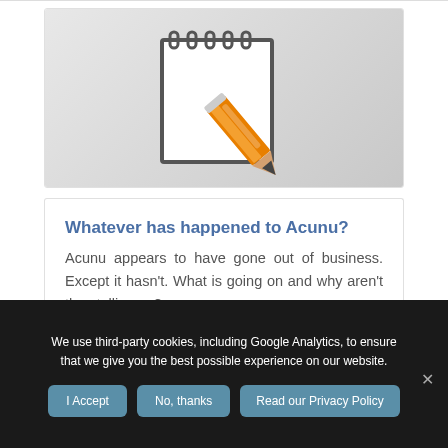[Figure (illustration): Notepad with orange pencil icon on grey gradient background]
Whatever has happened to Acunu?
Acunu appears to have gone out of business. Except it hasn't. What is going on and why aren't they telling us?
We use third-party cookies, including Google Analytics, to ensure that we give you the best possible experience on our website.
I Accept | No, thanks | Read our Privacy Policy